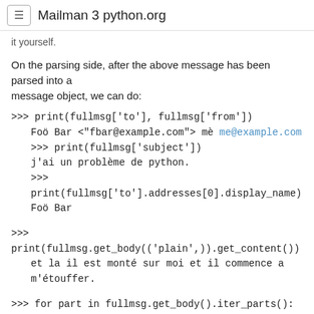≡  Mailman 3 python.org
it yourself.
On the parsing side, after the above message has been parsed into a
message object, we can do:
>>> print(fullmsg['to'], fullmsg['from'])
    Foö Bar <"fbar@example.com"> mè me@example.com
    >>> print(fullmsg['subject'])
    j'ai un problème de python.
    >>> print(fullmsg['to'].addresses[0].display_name)
    Foö Bar
>>> print(fullmsg.get_body(('plain',)).get_content())
    et la il est monté sur moi et il commence a m'étouffer.
>>> for part in fullmsg.get_body().iter_parts():
...     print(part.get_content())
    <p>et la il est monté sur moi et il commence a m'étouffer.</p>
<img src='image1' />